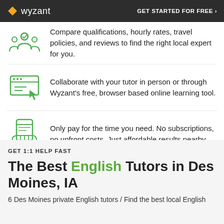wyzant | GET STARTED FOR FREE ›
Compare qualifications, hourly rates, travel policies, and reviews to find the right local expert for you.
Collaborate with your tutor in person or through Wyzant's free, browser based online learning tool.
Only pay for the time you need. No subscriptions, no upfront costs. Just affordable results nearby.
GET 1:1 HELP FAST
The Best English Tutors in Des Moines, IA
6 Des Moines private English tutors / Find the best local English